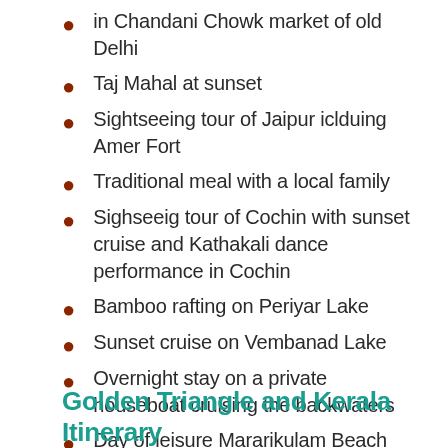in Chandani Chowk market of old Delhi
Taj Mahal at sunset
Sightseeing tour of Jaipur iclduing Amer Fort
Traditional meal with a local family
Sighseeig tour of Cochin with sunset cruise and Kathakali dance performance in Cochin
Bamboo rafting on Periyar Lake
Sunset cruise on Vembanad Lake
Overnight stay on a private houseboat cruising the backwaters
Day of leisure Mararikulam Beach
Golden Triangle and Kerala Itinerary